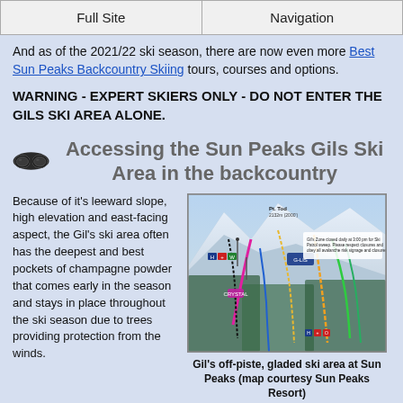Full Site | Navigation
And as of the 2021/22 ski season, there are now even more Best Sun Peaks Backcountry Skiing tours, courses and options.
WARNING - EXPERT SKIERS ONLY - DO NOT ENTER THE GILS SKI AREA ALONE.
Accessing the Sun Peaks Gils Ski Area in the backcountry
Because of it's leeward slope, high elevation and east-facing aspect, the Gil's ski area often has the deepest and best pockets of champagne powder that comes early in the season and stays in place throughout the ski season due to trees providing protection from the winds.
[Figure (map): Gil's off-piste, gladed ski area at Sun Peaks ski trail map showing the Gils zone, lifts, runs, and a closure warning notice.]
Gil's off-piste, gladed ski area at Sun Peaks (map courtesy Sun Peaks Resort)
Besides initially being out